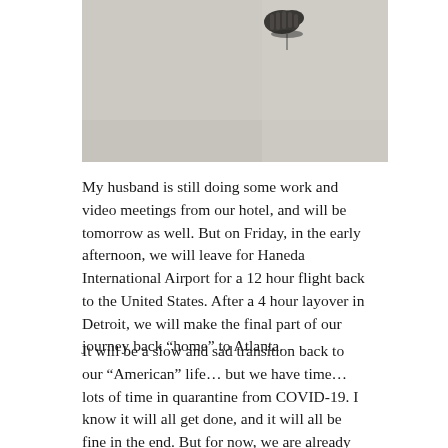[Figure (photo): A photo showing what appears to be a small dark metallic object (possibly a figurine or charm) against a light gray/white background surface.]
My husband is still doing some work and video meetings from our hotel, and will be tomorrow as well. But on Friday, in the early afternoon, we will leave for Haneda International Airport for a 12 hour flight back to the United States. After a 4 hour layover in Detroit, we will make the final part of our journey back “home” to Atlanta.
It will be a slow and sad transition back to our “American” life… but we have time… lots of time in quarantine from COVID-19. I know it will all get done, and it will all be fine in the end. But for now, we are already missing Tokyo.